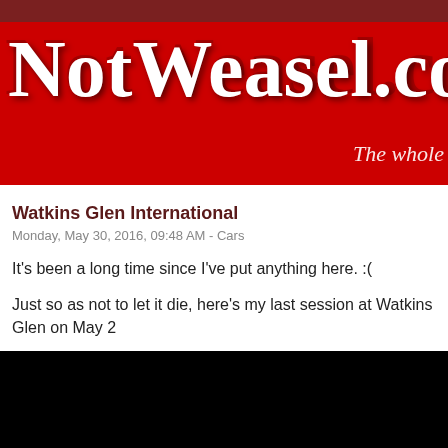NotWeasel.com The whole
Watkins Glen International
Monday, May 30, 2016, 09:48 AM - Cars
It's been a long time since I've put anything here. :(
Just so as not to let it die, here's my last session at Watkins Glen on May 2
[Figure (other): Embedded video player showing black screen]